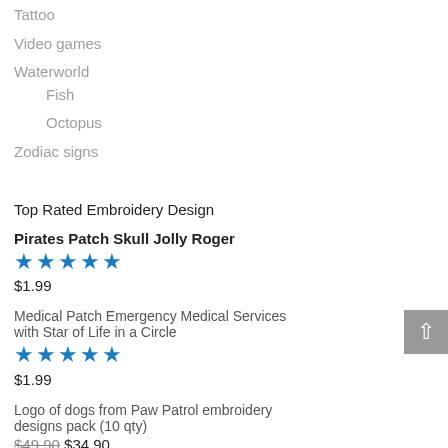Tattoo
Video games
Waterworld
Fish
Octopus
Zodiac signs
Top Rated Embroidery Design
Pirates Patch Skull Jolly Roger
★★★★★
$1.99
Medical Patch Emergency Medical Services with Star of Life in a Circle
★★★★★
$1.99
Logo of dogs from Paw Patrol embroidery designs pack (10 qty)
$49.90 $34.90